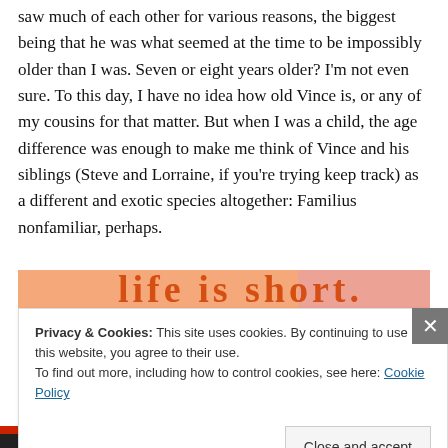saw much of each other for various reasons, the biggest being that he was what seemed at the time to be impossibly older than I was. Seven or eight years older? I'm not even sure. To this day, I have no idea how old Vince is, or any of my cousins for that matter. But when I was a child, the age difference was enough to make me think of Vince and his siblings (Steve and Lorraine, if you're trying keep track) as a different and exotic species altogether: Familius nonfamiliar, perhaps.
[Figure (illustration): Partial view of a decorative image strip with orange/pink gradient colors, partially obscured by cookie consent banner]
Privacy & Cookies: This site uses cookies. By continuing to use this website, you agree to their use.
To find out more, including how to control cookies, see here: Cookie Policy
Close and accept